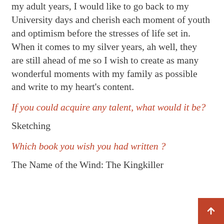my adult years, I would like to go back to my University days and cherish each moment of youth and optimism before the stresses of life set in. When it comes to my silver years, ah well, they are still ahead of me so I wish to create as many wonderful moments with my family as possible and write to my heart's content.
If you could acquire any talent, what would it be?
Sketching
Which book you wish you had written ?
The Name of the Wind: The Kingkiller Chronicle